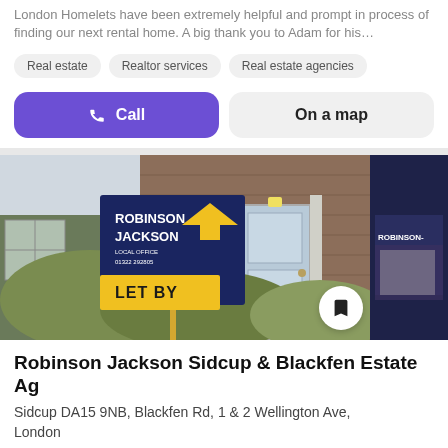London Homelets have been extremely helpful and prompt in process of finding our next rental home. A big thank you to Adam for his…
Real estate
Realtor services
Real estate agencies
Call
On a map
[Figure (photo): Photo of a Robinson Jackson estate agent 'LET BY' sign in front of a residential property with brick facade and white door. Partially visible second image shows a Robinson Jackson shopfront.]
Robinson Jackson Sidcup & Blackfen Estate Ag
Sidcup DA15 9NB, Blackfen Rd, 1 & 2 Wellington Ave, London